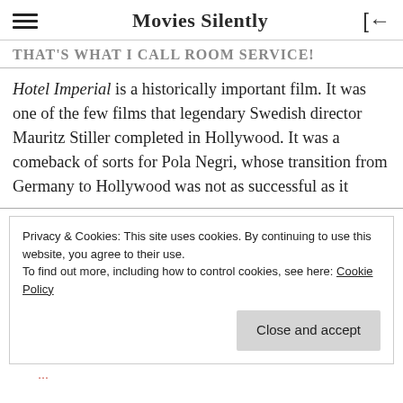Movies Silently
THAT'S WHAT I CALL ROOM SERVICE!
Hotel Imperial is a historically important film. It was one of the few films that legendary Swedish director Mauritz Stiller completed in Hollywood. It was a comeback of sorts for Pola Negri, whose transition from Germany to Hollywood was not as successful as it
Privacy & Cookies: This site uses cookies. By continuing to use this website, you agree to their use.
To find out more, including how to control cookies, see here: Cookie Policy
Close and accept